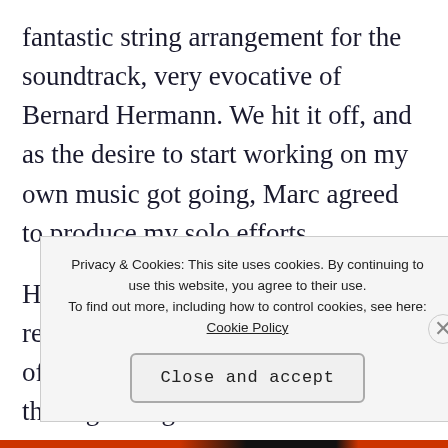fantastic string arrangement for the soundtrack, very evocative of Bernard Hermann. We hit it off, and as the desire to start working on my own music got going, Marc agreed to produce my solo efforts.
His creative contributions to those releases were really integral, and part of the impetus for forming Charge of the Light Brigade was to acknowledge the depth of his involvement. He is a real creative f
Privacy & Cookies: This site uses cookies. By continuing to use this website, you agree to their use.
To find out more, including how to control cookies, see here: Cookie Policy

Close and accept